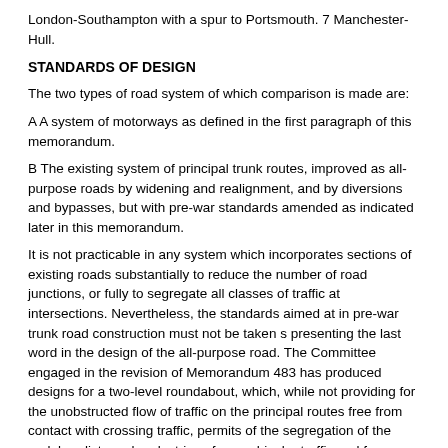London-Southampton with a spur to Portsmouth. 7 Manchester-Hull.
STANDARDS OF DESIGN
The two types of road system of which comparison is made are:
A A system of motorways as defined in the first paragraph of this memorandum.
B The existing system of principal trunk routes, improved as all-purpose roads by widening and realignment, and by diversions and bypasses, but with pre-war standards amended as indicated later in this memorandum.
It is not practicable in any system which incorporates sections of existing roads substantially to reduce the number of road junctions, or fully to segregate all classes of traffic at intersections. Nevertheless, the standards aimed at in pre-war trunk road construction must not be taken s presenting the last word in the design of the all-purpose road. The Committee engaged in the revision of Memorandum 483 has produced designs for a two-level roundabout, which, while not providing for the unobstructed flow of traffic on the principal routes free from contact with crossing traffic, permits of the segregation of the pedal cyclists and pedestrians from vehicular traffic and from each other. Complete segregation is, however, impracticable, by reason of the complexity of effective road intersections such as those of the clover-leaf type and the excessive cost of their provision. The revised memorandum also includes improved designs for roundabouts of the normal type and for other forms of intersection layout